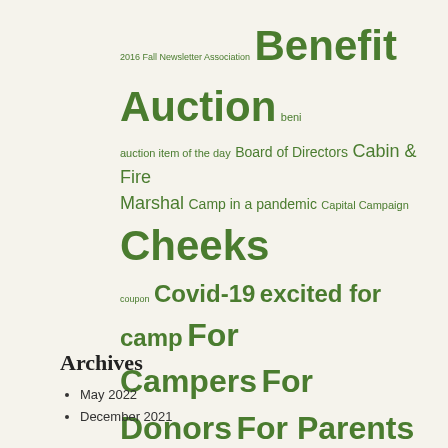[Figure (infographic): Tag cloud with various camp-related terms in different sizes displayed in green, including Benefit Auction, Cheeks, For Campers, For Donors, For Parents, Newsletter, Pavilion Project, summer camp, Winter Camp, Volunteers, and many others.]
Archives
May 2022
December 2021